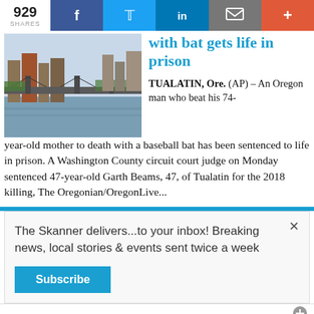929 SHARES | Facebook | Twitter | LinkedIn | Email | More
[Figure (photo): Aerial view of Portland Oregon cityscape with bridge over river]
with bat gets life in prison
TUALATIN, Ore. (AP) – An Oregon man who beat his 74-year-old mother to death with a baseball bat has been sentenced to life in prison. A Washington County circuit court judge on Monday sentenced 47-year-old Garth Beams, 47, of Tualatin for the 2018 killing, The Oregonian/OregonLive...
The Skanner delivers...to your inbox! Breaking news, local stories & events sent twice a week
Subscribe
[Figure (photo): Autobuses Lucano advertisement - SERVICIO DE PAQUETERÍA 832-798-9608]